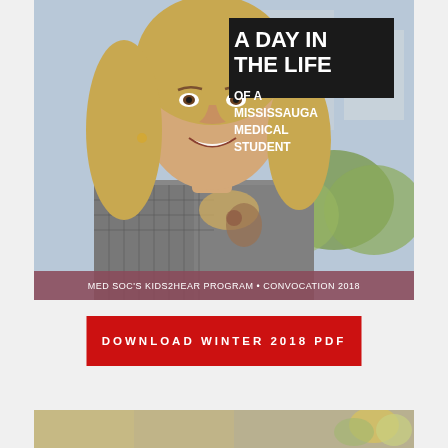[Figure (photo): Cover image of a smiling young woman with long wavy hair, wearing a plaid jacket and floral top, standing outdoors near buildings and greenery. Text overlay reads 'A DAY IN THE LIFE OF A MISSISSAUGA MEDICAL STUDENT'. Bottom bar reads 'MED SOC'S KIDS2HEAR PROGRAM • CONVOCATION 2018'.]
DOWNLOAD WINTER 2018 PDF
[Figure (photo): Partial bottom image, cropped, showing colorful objects or scene.]